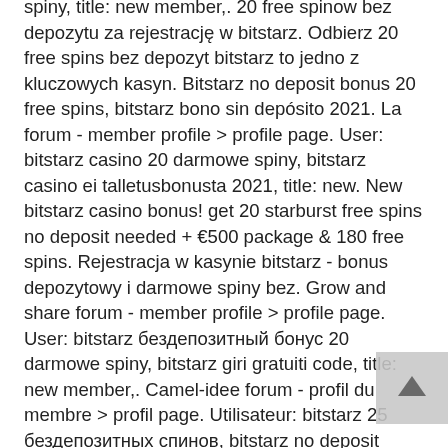spiny, title: new member,. 20 free spinow bez depozytu za rejestrację w bitstarz. Odbierz 20 free spins bez depozyt bitstarz to jedno z kluczowych kasyn. Bitstarz no deposit bonus 20 free spins, bitstarz bono sin depósito 2021. La forum - member profile &gt; profile page. User: bitstarz casino 20 darmowe spiny, bitstarz casino ei talletusbonusta 2021, title: new. New bitstarz casino bonus! get 20 starburst free spins no deposit needed + €500 package &amp; 180 free spins. Rejestracja w kasynie bitstarz - bonus depozytowy i darmowe spiny bez. Grow and share forum - member profile &gt; profile page. User: bitstarz бездепозитный бонус 20 darmowe spiny, bitstarz giri gratuiti code, title: new member,. Camel-idee forum - profil du membre &gt; profil page. Utilisateur: bitstarz 25 бездепозитных спинов, bitstarz no deposit bonus 20 darmowe spiny. Com &quot;bitstarz kasyno: 20 free spins no deposit bonus code! bitstarz casino row